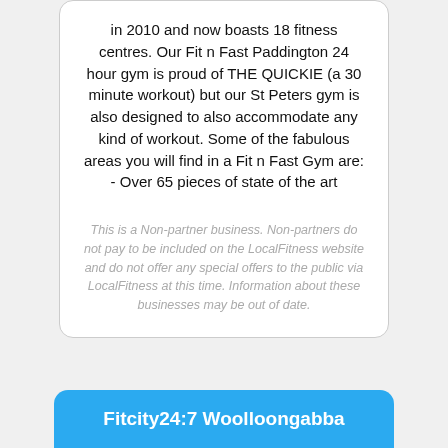in 2010 and now boasts 18 fitness centres. Our Fit n Fast Paddington 24 hour gym is proud of THE QUICKIE (a 30 minute workout) but our St Peters gym is also designed to also accommodate any kind of workout. Some of the fabulous areas you will find in a Fit n Fast Gym are: - Over 65 pieces of state of the art
This is a Non-partner business. Non-partners do not pay to be included on the LocalFitness website and do not offer any special offers to the public via LocalFitness at this time. Information about these businesses may be out of date.
Fitcity24:7 Woolloongabba